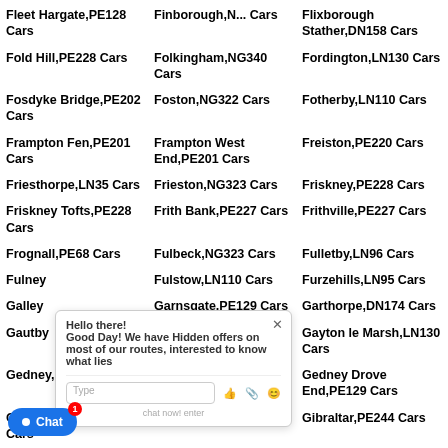Fleet Hargate,PE128 Cars
Finborough,N... Cars
Flixborough Stather,DN158 Cars
Fold Hill,PE228 Cars
Folkingham,NG340 Cars
Fordington,LN130 Cars
Fosdyke Bridge,PE202 Cars
Foston,NG322 Cars
Fotherby,LN110 Cars
Frampton Fen,PE201 Cars
Frampton West End,PE201 Cars
Freiston,PE220 Cars
Friesthorpe,LN35 Cars
Frieston,NG323 Cars
Friskney,PE228 Cars
Friskney Tofts,PE228 Cars
Frith Bank,PE227 Cars
Frithville,PE227 Cars
Frognall,PE68 Cars
Fulbeck,NG323 Cars
Fulletby,LN96 Cars
Fulney Cars
Fulstow,LN110 Cars
Furzehills,LN95 Cars
Galley Cars
Garnsgate,PE129 Cars
Garthorpe,DN174 Cars
Gautby Cars
Gayton Engine,LN117 Cars
Gayton le Marsh,LN130 Cars
Gedney,PE120 Cars
Gedney Broadgate,PE120 Cars
Gedney Drove End,PE129 Cars
Gedney Hill,PE120 Cars
Gelston,NG322 Cars
Gibraltar,PE244 Cars